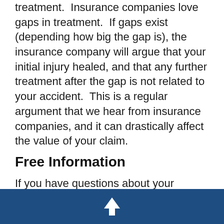treatment.  Insurance companies love gaps in treatment.  If gaps exist (depending how big the gap is), the insurance company will argue that your initial injury healed, and that any further treatment after the gap is not related to your accident.  This is a regular argument that we hear from insurance companies, and it can drastically affect the value of your claim.
Free Information
If you have questions about your Florida accident case, you can download our Free Reports:
1.  Your Guide to Florida Car
↑